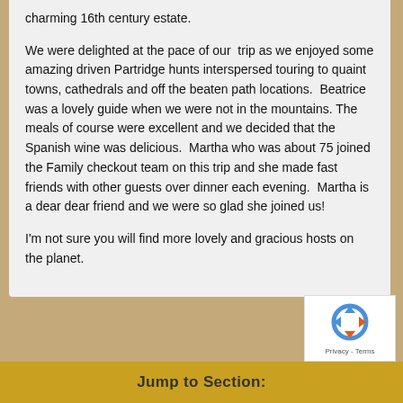charming 16th century estate.
We were delighted at the pace of our trip as we enjoyed some amazing driven Partridge hunts interspersed touring to quaint towns, cathedrals and off the beaten path locations. Beatrice was a lovely guide when we were not in the mountains. The meals of course were excellent and we decided that the Spanish wine was delicious. Martha who was about 75 joined the Family checkout team on this trip and she made fast friends with other guests over dinner each evening. Martha is a dear dear friend and we were so glad she joined us!
I'm not sure you will find more lovely and gracious hosts on the planet.
[Figure (logo): reCAPTCHA logo with Privacy and Terms text]
Jump to Section: